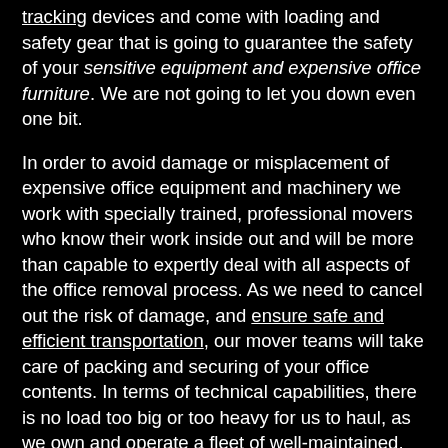tracking devices and come with loading and safety gear that is going to guarantee the safety of your sensitive equipment and expensive office furniture. We are not going to let you down even one bit.
In order to avoid damage or misplacement of expensive office equipment and machinery we work with specially trained, professional movers who know their work inside out and will be more than capable to expertly deal with all aspects of the office removal process. As we need to cancel out the risk of damage, and ensure safe and efficient transportation, our mover teams will take care of packing and securing of your office contents. In terms of technical capabilities, there is no load too big or too heavy for us to haul, as we own and operate a fleet of well-maintained, transport vehicles of different payload capacity which means we can be extra flexible and efficient with our removal transportation. Versatile transportation translates to fewer service costs for our customers. When looking for the best office removals in Biggin Hill make us your top choice, because we can make it happen.
Biggin Hill is notable for being the only town in Greater London